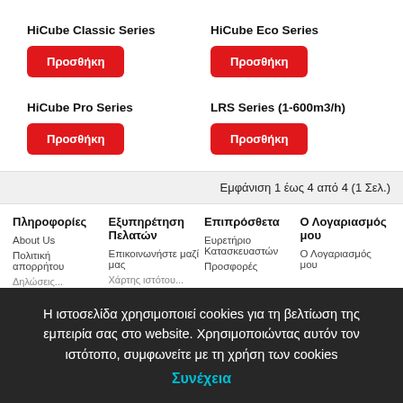HiCube Classic Series
Προσθήκη
HiCube Eco Series
Προσθήκη
HiCube Pro Series
Προσθήκη
LRS Series (1-600m3/h)
Προσθήκη
Εμφάνιση 1 έως 4 από 4 (1 Σελ.)
Πληροφορίες
About Us
Πολιτική απορρήτου
Εξυπηρέτηση Πελατών
Επικοινωνήστε μαζί μας
Επιπρόσθετα
Ευρετήριο Κατασκευαστών
Προσφορές
Ο Λογαριασμός μου
Ο Λογαριασμός μου
Η ιστοσελίδα χρησιμοποιεί cookies για τη βελτίωση της εμπειρία σας στο website. Χρησιμοποιώντας αυτόν τον ιστότοπο, συμφωνείτε με τη χρήση των cookies
Συνέχεια